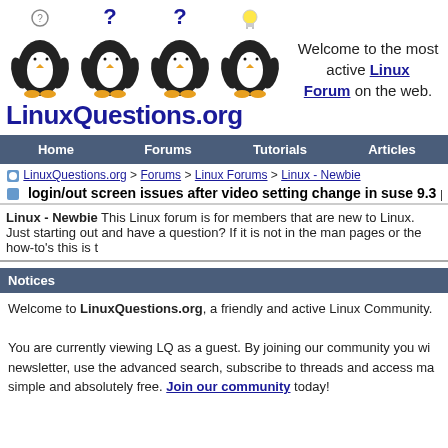[Figure (logo): LinuxQuestions.org logo with four Tux penguins with question marks and lightbulb above them, and site name below]
Welcome to the most active Linux Forum on the web.
Home   Forums   Tutorials   Articles
LinuxQuestions.org > Forums > Linux Forums > Linux - Newbie
login/out screen issues after video setting change in suse 9.3 p
Linux - Newbie This Linux forum is for members that are new to Linux. Just starting out and have a question? If it is not in the man pages or the how-to's this is t
Notices
Welcome to LinuxQuestions.org, a friendly and active Linux Community. You are currently viewing LQ as a guest. By joining our community you wi newsletter, use the advanced search, subscribe to threads and access ma simple and absolutely free. Join our community today!